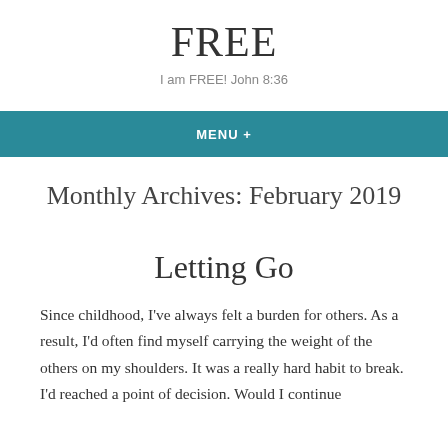FREE
I am FREE! John 8:36
MENU +
Monthly Archives: February 2019
Letting Go
Since childhood, I've always felt a burden for others. As a result, I'd often find myself carrying the weight of the others on my shoulders. It was a really hard habit to break. I'd reached a point of decision. Would I continue